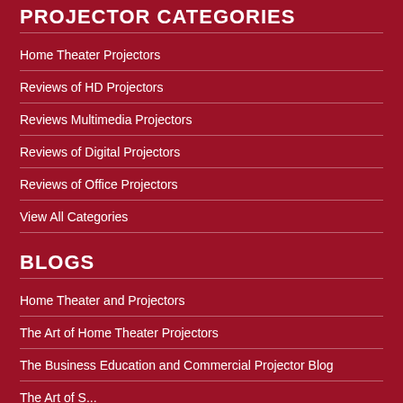PROJECTOR CATEGORIES
Home Theater Projectors
Reviews of HD Projectors
Reviews Multimedia Projectors
Reviews of Digital Projectors
Reviews of Office Projectors
View All Categories
BLOGS
Home Theater and Projectors
The Art of Home Theater Projectors
The Business Education and Commercial Projector Blog
The Art of S...